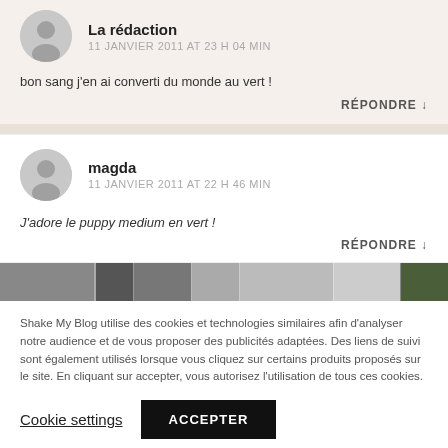La rédaction
11 JANVIER 2011 AT 23 H 04 MIN
bon sang j’en ai converti du monde au vert !
RÉPONDRE ↓
magda
11 JANVIER 2011 AT 22 H 46 MIN
J’adore le puppy medium en vert !
RÉPONDRE ↓
[Figure (photo): Thumbnail image strip showing partial images]
Shake My Blog utilise des cookies et technologies similaires afin d’analyser notre audience et de vous proposer des publicités adaptées. Des liens de suivi sont également utilisés lorsque vous cliquez sur certains produits proposés sur le site. En cliquant sur accepter, vous autorisez l’utilisation de tous ces cookies.
Cookie settings
ACCEPTER